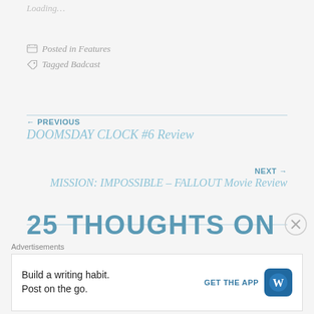Loading...
Posted in Features
Tagged Badcast
← PREVIOUS
DOOMSDAY CLOCK #6 Review
NEXT →
MISSION: IMPOSSIBLE – FALLOUT Movie Review
25 THOUGHTS ON
Advertisements
Build a writing habit. Post on the go.
GET THE APP